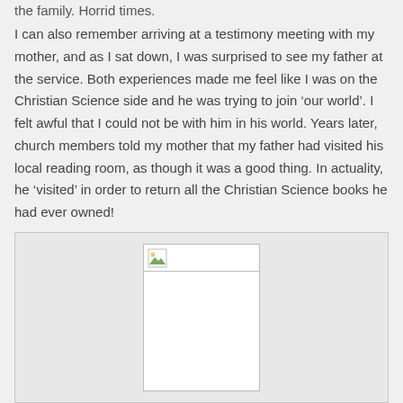the family. Horrid times.
I can also remember arriving at a testimony meeting with my mother, and as I sat down, I was surprised to see my father at the service. Both experiences made me feel like I was on the Christian Science side and he was trying to join ‘our world’. I felt awful that I could not be with him in his world. Years later, church members told my mother that my father had visited his local reading room, as though it was a good thing. In actuality, he ‘visited’ in order to return all the Christian Science books he had ever owned!
– Anonymous
[Figure (photo): A broken/missing image placeholder showing a small icon in the upper left corner with an empty white rectangle below, contained within a light grey bordered box.]